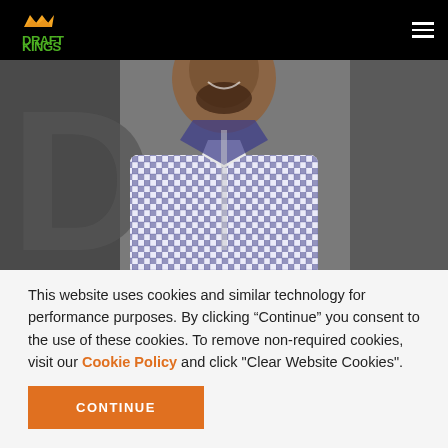DraftKings
[Figure (photo): Man smiling wearing a blue and white checkered shirt, photographed from chest up against a blurred background with a large letter visible]
This website uses cookies and similar technology for performance purposes. By clicking “Continue” you consent to the use of these cookies. To remove non-required cookies, visit our Cookie Policy and click "Clear Website Cookies".
CONTINUE